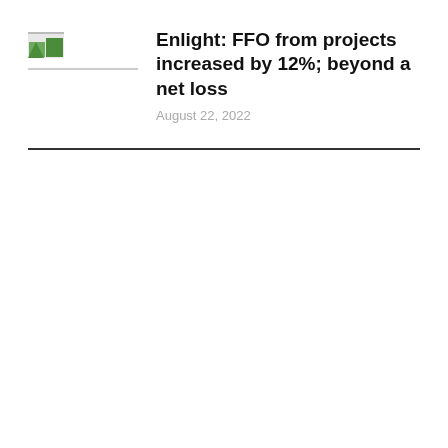[Figure (logo): Small green and white logo icon with a horizontal grey line below it]
Enlight: FFO from projects increased by 12%; beyond a net loss
August 22, 2022